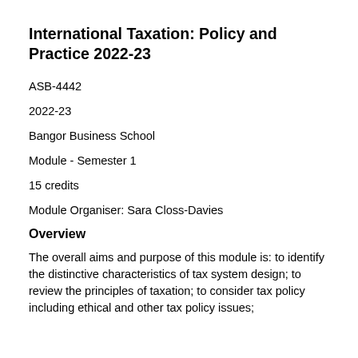International Taxation: Policy and Practice 2022-23
ASB-4442
2022-23
Bangor Business School
Module - Semester 1
15 credits
Module Organiser: Sara Closs-Davies
Overview
The overall aims and purpose of this module is: to identify the distinctive characteristics of tax system design; to review the principles of taxation; to consider tax policy including ethical and other tax policy issues;